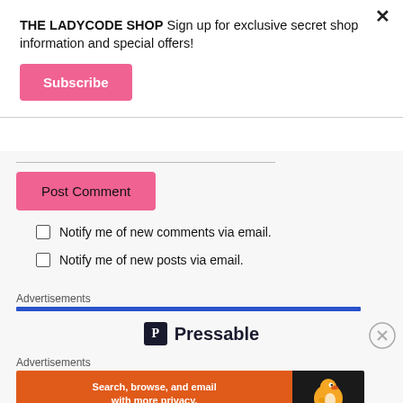THE LADYCODE SHOP Sign up for exclusive secret shop information and special offers!
[Figure (other): Subscribe button (pink/salmon colored button with white bold text 'Subscribe') and close X button in top right]
[Figure (other): Post Comment button (pink) and two unchecked checkboxes: 'Notify me of new comments via email.' and 'Notify me of new posts via email.']
Advertisements
[Figure (logo): Pressable logo: dark square icon with P letter and 'Pressable' text in bold dark letters]
Advertisements
[Figure (other): DuckDuckGo advertisement banner: orange section with 'Search, browse, and email with more privacy. All in One Free App' and DuckDuckGo duck logo on dark background]